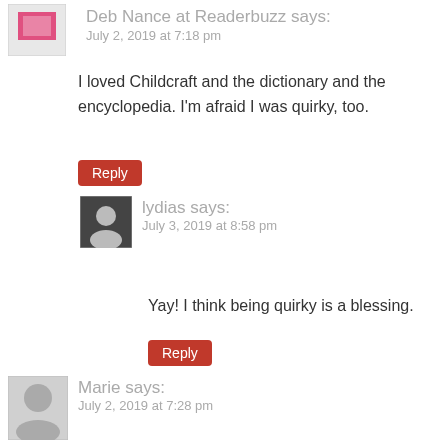Deb Nance at Readerbuzz says: July 2, 2019 at 7:18 pm
I loved Childcraft and the dictionary and the encyclopedia. I'm afraid I was quirky, too.
Reply
lydias says: July 3, 2019 at 8:58 pm
Yay! I think being quirky is a blessing.
Reply
Marie says: July 2, 2019 at 7:28 pm
A couple of years ago my son (he's 7 now) asked me to read him his Children's Dictionary.
Marie @ Pages to Explore
Reply
lydias says: